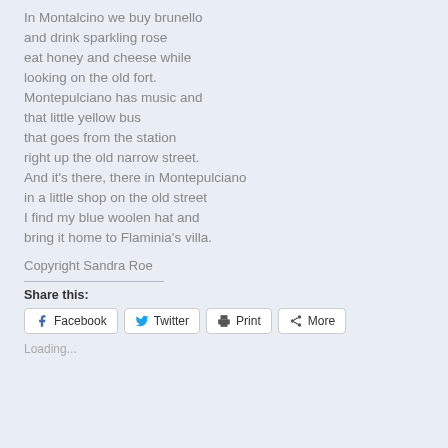In Montalcino we buy brunello
and drink sparkling rose
eat honey and cheese while
looking on the old fort.
Montepulciano has music and
that little yellow bus
that goes from the station
right up the old narrow street.
And it's there, there in Montepulciano
in a little shop on the old street
I find my blue woolen hat and
bring it home to Flaminia's villa.
Copyright Sandra Roe
Share this:
Facebook  Twitter  Print  More
Loading...